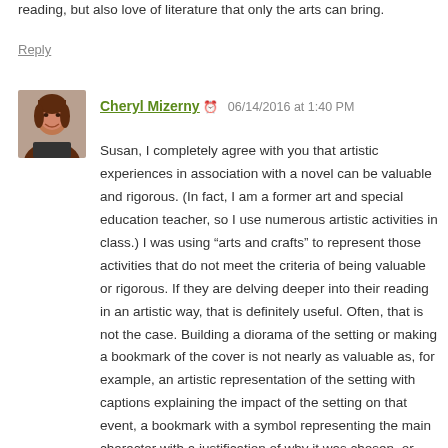reading, but also love of literature that only the arts can bring.
Reply
Cheryl Mizerny  06/14/2016 at 1:40 PM
Susan, I completely agree with you that artistic experiences in association with a novel can be valuable and rigorous. (In fact, I am a former art and special education teacher, so I use numerous artistic activities in class.) I was using “arts and crafts” to represent those activities that do not meet the criteria of being valuable or rigorous. If they are delving deeper into their reading in an artistic way, that is definitely useful. Often, that is not the case. Building a diorama of the setting or making a bookmark of the cover is not nearly as valuable as, for example, an artistic representation of the setting with captions explaining the impact of the setting on that event, a bookmark with a symbol representing the main character with a justification of why it was chosen, or determining a soundtrack with a song associated with each chapter and explaining if that song evokes the same emotions. Read...